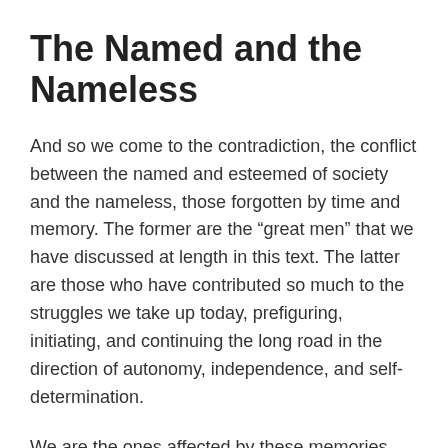The Named and the Nameless
And so we come to the contradiction, the conflict between the named and esteemed of society and the nameless, those forgotten by time and memory. The former are the “great men” that we have discussed at length in this text. The latter are those who have contributed so much to the struggles we take up today, prefiguring, initiating, and continuing the long road in the direction of autonomy, independence, and self-determination.
We are the ones affected by these memories, who remain under the thumb of those who peddle heroes